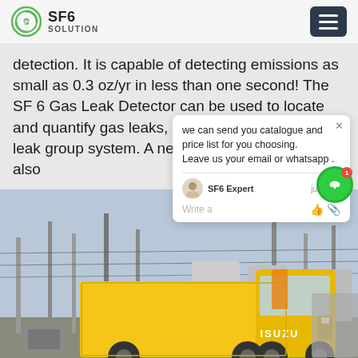SF6 SOLUTION
detection. It is capable of detecting emissions as small as 0.3 oz/yr in less than one second! The SF 6 Gas Leak Detector can be used to locate and quantify gas leaks, log them, and th... in a leak group system. A new ground ... capability has also
[Figure (photo): Yellow ISUZU truck parked at an electrical substation with large power transformers and towers in the background.]